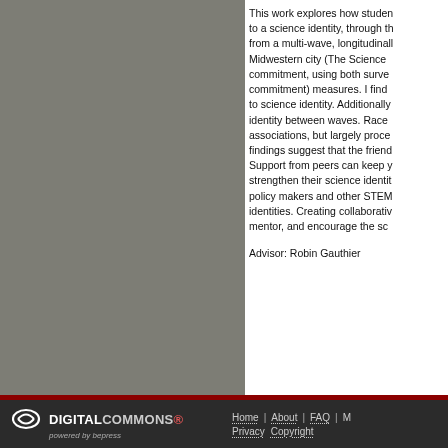This work explores how students develop commitment to a science identity, through the lens of data from a multi-wave, longitudinally designed study in a Midwestern city (The Science Identity Study). I examine commitment, using both survey (belonging and commitment) measures. I find that belonging is related to science identity. Additionally, I look at science identity between waves. Race moderates the belonging associations, but largely processes through belonging. My findings suggest that the friendship support matters. Support from peers can keep youth engaged and strengthen their science identities. I offer implications for policy makers and other STEM educators to build science identities. Creating collaborative peer environments can mentor, and encourage the science identities of youth.
Advisor: Robin Gauthier
Home | About | FAQ | M... | Privacy | Copyright